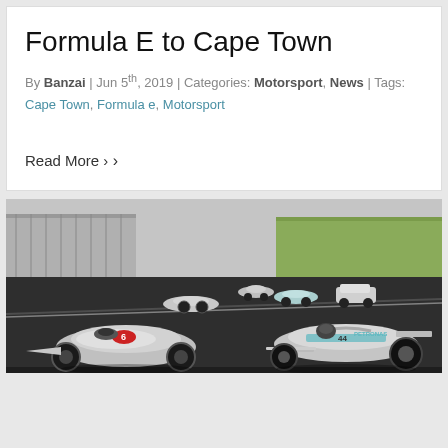Formula E to Cape Town
By Banzai | Jun 5th, 2019 | Categories: Motorsport, News | Tags: Cape Town, Formula e, Motorsport
Read More ›
[Figure (photo): Multiple racing cars on a track at a motorsport circuit, including vintage and modern Formula 1 cars, photographed at what appears to be Silverstone or similar circuit with grandstands visible in background.]